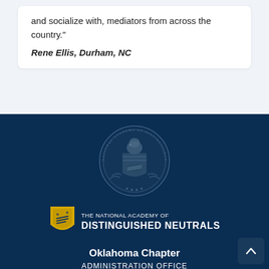and socialize with, mediators from across the country."
Rene Ellis, Durham, NC
[Figure (logo): Circular seal of the National Academy of Distinguished Neutrals with eagle and handshake emblem]
[Figure (logo): Yellow shield logo with handshake for The National Academy of Distinguished Neutrals]
THE NATIONAL ACADEMY OF DISTINGUISHED NEUTRALS
Oklahoma Chapter
ADMINISTRATION OFFICE
7722 S.W. 88th Street Rd., Ocala, FL 34476
Tel: (813) 600-3678 | Fax: (866) 257-4698